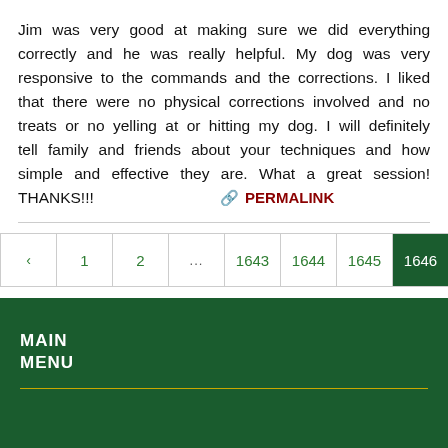Jim was very good at making sure we did everything correctly and he was really helpful. My dog was very responsive to the commands and the corrections. I liked that there were no physical corrections involved and no treats or no yelling at or hitting my dog. I will definitely tell family and friends about your techniques and how simple and effective they are. What a great session! THANKS!!!
PERMALINK
| ‹ | 1 | 2 | ... | 1643 | 1644 | 1645 | 1646 | 164… |
| --- | --- | --- | --- | --- | --- | --- | --- | --- |
MAIN MENU